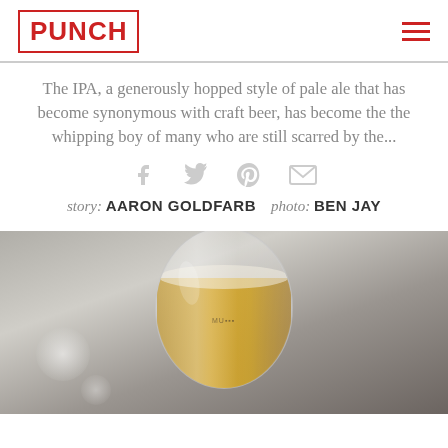PUNCH
The IPA, a generously hopped style of pale ale that has become synonymous with craft beer, has become the the whipping boy of many who are still scarred by the...
[Figure (infographic): Social sharing icons: Facebook, Twitter, Pinterest, Email]
story: AARON GOLDFARB   photo: BEN JAY
[Figure (photo): Close-up photo of a stemless wine glass containing golden IPA beer, on a blurred background with bokeh light effects]